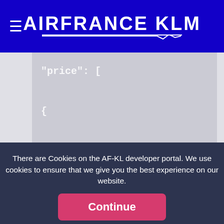AIRFRANCE KLM
[Figure (screenshot): Code snippet showing JSON structure with 'price': [ { 'type': 'AIRPORTPRICE', on a dark grey background]
There are Cookies on the AF-KL developer portal. We use cookies to ensure that we give you the best experience on our website.
If you continue without changing your settings, we will assume that you accept to receive all cookies on our website.
Continue